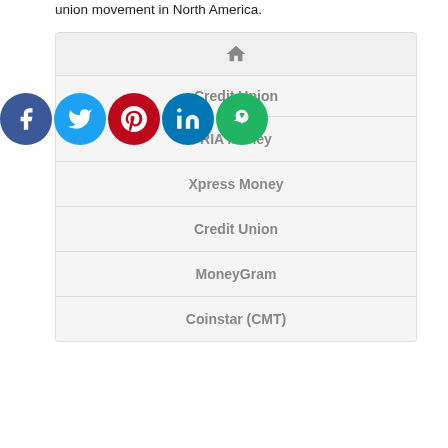union movement in North America.
[Figure (infographic): Navigation menu with home icon and list items: Credit Union, RIA Money, Xpress Money, Credit Union, MoneyGram, Coinstar (CMT)]
[Figure (infographic): Social media sharing icons: Facebook, Twitter, Pinterest, LinkedIn, and a green sharing icon]